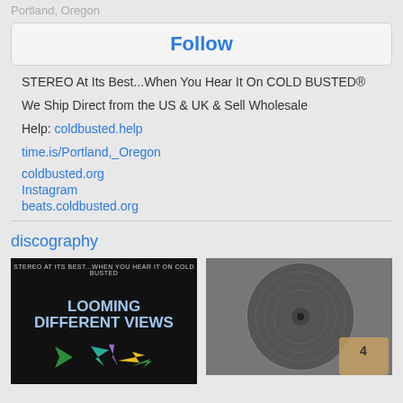Portland, Oregon
Follow
STEREO At Its Best...When You Hear It On COLD BUSTED®
We Ship Direct from the US & UK & Sell Wholesale
Help: coldbusted.help
time.is/Portland,_Oregon
coldbusted.org
Instagram
beats.coldbusted.org
discography
[Figure (photo): Album cover for 'Looming Different Views' on Cold Busted label, dark background with colorful arrows]
[Figure (photo): Vinyl record close-up, grayscale image with visible grooves and a label in the corner]